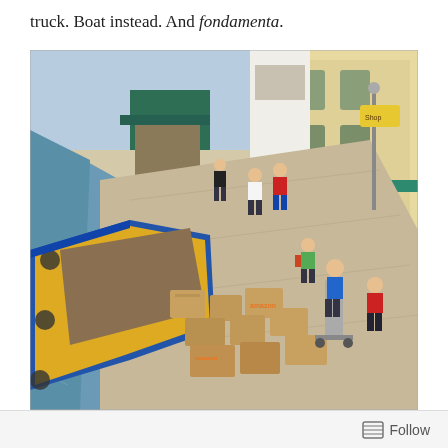truck. Boat instead. And fondamenta.
[Figure (photo): Aerial view of a Venice canal fondamenta (canal-side walkway) with a delivery boat loaded with cardboard boxes docked alongside. Workers in blue and red shirts unload goods. Pedestrians walk along the sunny promenade past shops with green awnings and yellow buildings.]
Follow